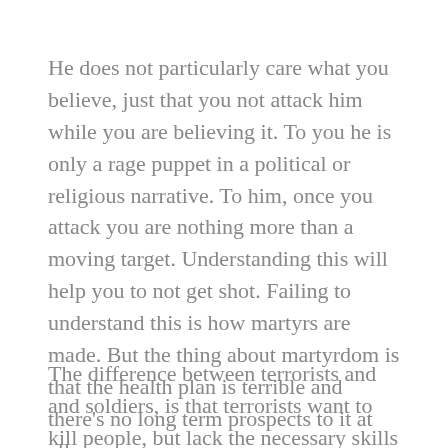He does not particularly care what you believe, just that you not attack him while you are believing it. To you he is only a rage puppet in a political or religious narrative. To him, once you attack you are nothing more than a moving target. Understanding this will help you to not get shot. Failing to understand this is how martyrs are made. But the thing about martyrdom is that the health plan is terrible and there's no long term prospects to it at all.
The difference between terrorists and and soldiers, is that terrorists want to kill people, but lack the necessary skills to